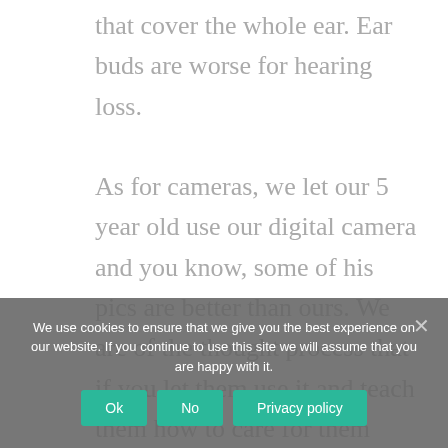that cover the whole ear. Ear buds are worse for hearing loss. As for cameras, we let our 5 year old use our digital camera and you know, some of his pics are better than ours. We are of the thought process that if you let them use it and teach them how to care for them properly they will respect it much more than something that is “off limits” to them. We’ve also got an iMac that we have
We use cookies to ensure that we give you the best experience on our website. If you continue to use this site we will assume that you are happy with it.